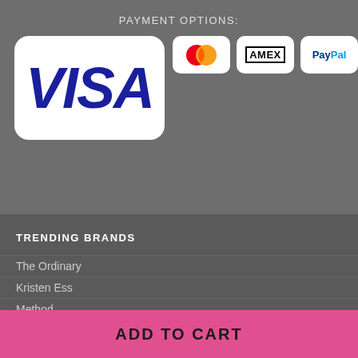PAYMENT OPTIONS:
[Figure (logo): Payment method logos: Visa (large white card), Mastercard (overlapping red and orange circles), AMEX (outlined text), PayPal (blue/cyan text)]
TRENDING BRANDS
The Ordinary
Kristen Ess
Method
ADD TO CART